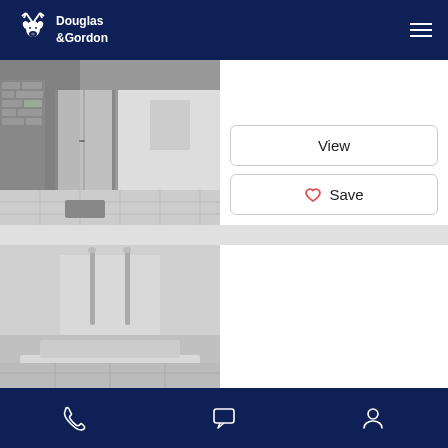Douglas & Gordon – navigation header with logo and hamburger menu
[Figure (photo): Black and white photo of a room interior with glass bifold doors, brick wall visible outside, tiled floor]
View
❤ Save
[Figure (photo): Black and white photo of a modern bathroom interior with tall glass barrier and chrome fixtures]
Sold
Sold
Shinfield Street,_
🛏 4  🛁 3  🏠 2
Bottom navigation bar with phone, chat, and profile icons